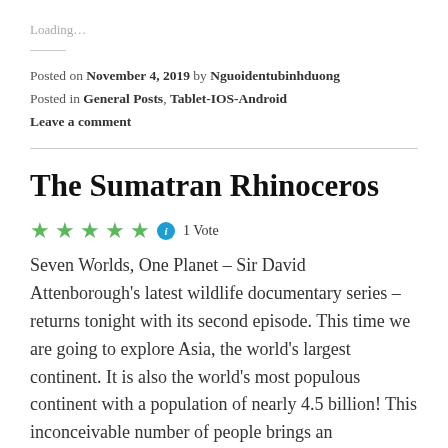Loading...
Posted on November 4, 2019 by Nguoidentubinhduong
Posted in General Posts, Tablet-IOS-Android
Leave a comment
The Sumatran Rhinoceros
★★★★★ ℹ 1 Vote
Seven Worlds, One Planet – Sir David Attenborough's latest wildlife documentary series – returns tonight with its second episode. This time we are going to explore Asia, the world's largest continent. It is also the world's most populous continent with a population of nearly 4.5 billion! This inconceivable number of people brings an